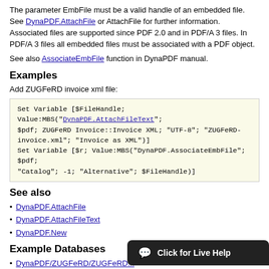The parameter EmbFile must be a valid handle of an embedded file. See DynaPDF.AttachFile or AttachFile for further information.
Associated files are supported since PDF 2.0 and in PDF/A 3 files. In PDF/A 3 files all embedded files must be associated with a PDF object.
See also AssociateEmbFile function in DynaPDF manual.
Examples
Add ZUGFeRD invoice xml file:
Set Variable [$FileHandle; Value:MBS("DynaPDF.AttachFileText"; $pdf; ZUGFeRD Invoice::Invoice XML; "UTF-8"; "ZUGFeRD-invoice.xml"; "Invoice as XML")]
Set Variable [$r; Value:MBS("DynaPDF.AssociateEmbFile"; $pdf; "Catalog"; -1; "Alternative"; $FileHandle)]
See also
DynaPDF.AttachFile
DynaPDF.AttachFileText
DynaPDF.New
Example Databases
DynaPDF/ZUGFeRD/ZUGFeRD...